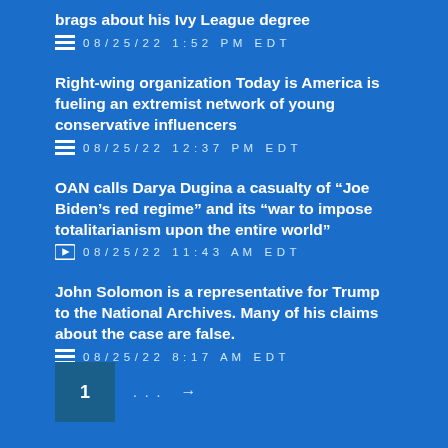brags about his Ivy League degree
08/25/22 1:52 PM EDT
Right-wing organization Today is America is fueling an extremist network of young conservative influencers
08/25/22 12:37 PM EDT
OAN calls Darya Dugina a casualty of “Joe Biden’s red regime” and its “war to impose totalitarianism upon the entire world”
08/25/22 11:43 AM EDT
John Solomon is a representative for Trump to the National Archives. Many of his claims about the case are false.
08/25/22 8:17 AM EDT